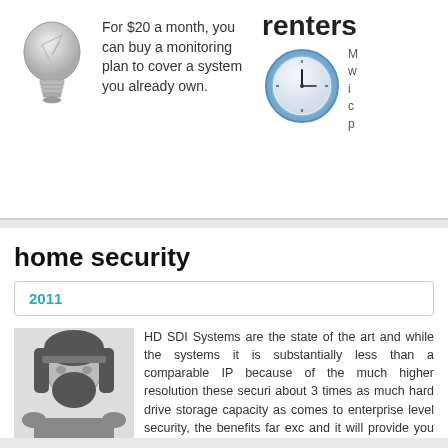[Figure (illustration): Light bulb illustration in grayscale]
For $20 a month, you can buy a monitoring plan to cover a system you already own.
renters
[Figure (illustration): Clock/timer illustration with blue border]
M... w... i... c... p...
home security
2011
[Figure (photo): Black and white photo of a man with long hair and beard wearing a headband]
HD SDI Systems are the state of the art and while the systems it is substantially less than a comparable IP because of the much higher resolution these securi about 3 times as much hard drive storage capacity as comes to enterprise level security, the benefits far exc and it will provide you with some of the the highest qu industry currently offers. We are one of the very few 1080 lines of resolution. Most companies max out aro of the line HD SDI DVRs and HD SDI cameras record cinema like resolution of 1080p—the highest ranking will find. Other Security Cameras and DVRs may boast that they record at 30 they don't always do it at 1080p resolution, which means a noticeable drop in p their facial features, and other potentially admissible evidence is important to provide it. Dome cameras are typically used for indoor and outdoor use, su rooms and offices, and smaller areas. They are generally one of the "go to's" as they usually come equipped with a narrow, yet focused, field of view for ha need to view big distances within a narrow space. Outdoor ready dome came